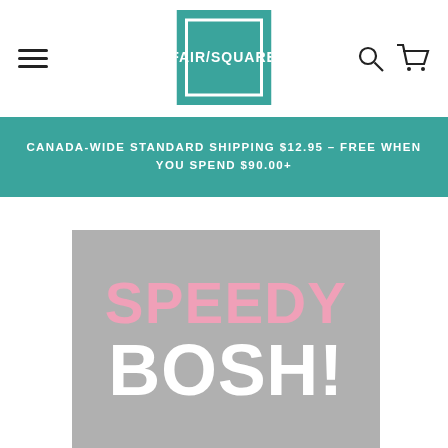FAIR/SQUARE — navigation header with hamburger menu, logo, search and cart icons
CANADA-WIDE STANDARD SHIPPING $12.95 – FREE WHEN YOU SPEND $90.00+
[Figure (photo): Product book cover with grey background showing 'SPEEDY BOSH!' in large pink and white bold text]